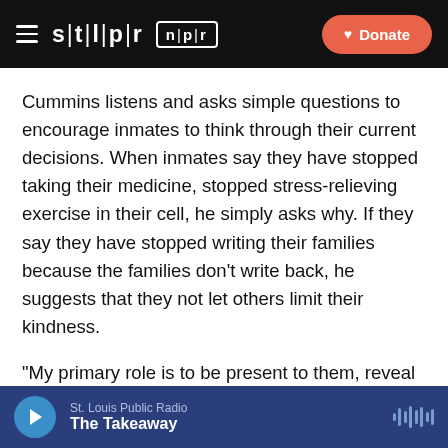stlpr npr Donate
Cummins listens and asks simple questions to encourage inmates to think through their current decisions. When inmates say they have stopped taking their medicine, stopped stress-relieving exercise in their cell, he simply asks why. If they say they have stopped writing their families because the families don't write back, he suggests that they not let others limit their kindness.
“My primary role is to be present to them, reveal a different way of life, “he said. “It seems to work.”
He has witnessed many transformations, including men
St. Louis Public Radio
The Takeaway